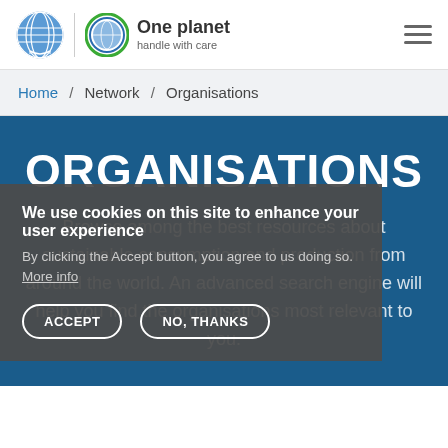[Figure (logo): UN logo (blue circle with world map and laurel wreath) followed by vertical divider, then One Planet globe logo with green/blue ring, next to text 'One planet / handle with care']
One planet handle with care
Home / Network / Organisations
ORGANISATIONS
Browse among the best resources about sustainable consumption and production from around the world. An advanced search engine will help you find the organisations most relevant to you.
We use cookies on this site to enhance your user experience
By clicking the Accept button, you agree to us doing so. More info
ACCEPT   NO, THANKS